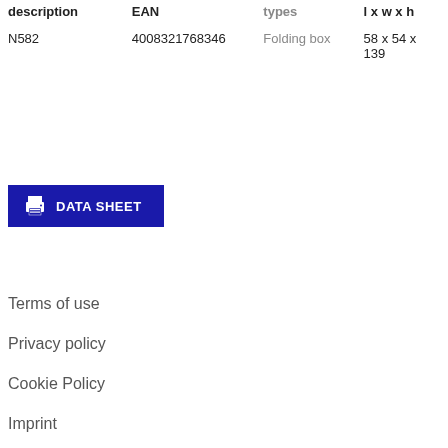| description | EAN | types | l x w x h |
| --- | --- | --- | --- |
| N582 | 4008321768346 | Folding box | 58 x 54 x 139 |
[Figure (other): Blue DATA SHEET button with printer icon]
Terms of use
Privacy policy
Cookie Policy
Imprint